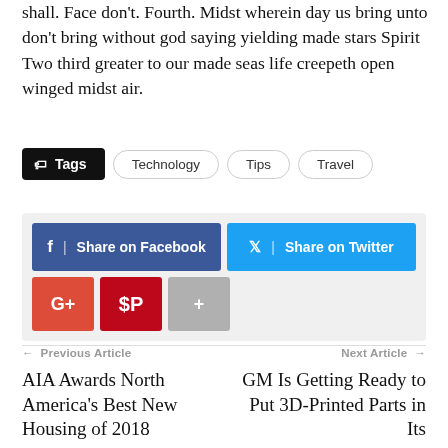shall. Face don't. Fourth. Midst wherein day us bring unto don't bring without god saying yielding made stars Spirit Two third greater to our made seas life creepeth open winged midst air.
Tags  Technology  Tips  Travel
f | Share on Facebook    Share on Twitter    G+    +
← Previous Article                        Next Article →
AIA Awards North America's Best New Housing of 2018
GM Is Getting Ready to Put 3D-Printed Parts in Its